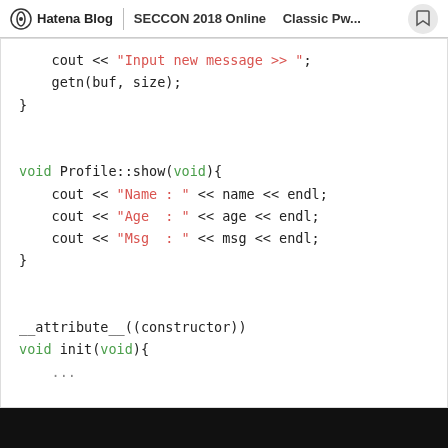Hatena Blog | SECCON 2018 Online 　Classic Pw...
cout << "Input new message >> ";
    getn(buf, size);
}

void Profile::show(void){
    cout << "Name : " << name << endl;
    cout << "Age  : " << age << endl;
    cout << "Msg  : " << msg << endl;
}

__attribute__((constructor))
void init(void){